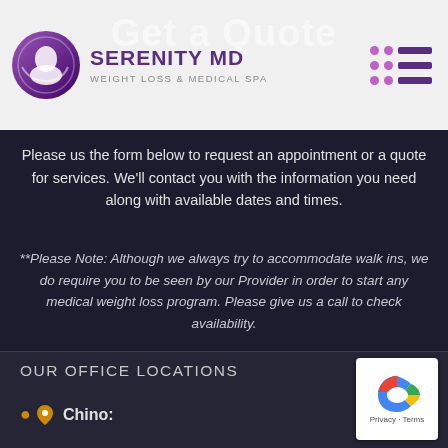Get a Quote
[Figure (logo): Serenity MD Weight Loss & Medical Spa logo with circular purple gradient icon and text]
Please us the form below to request an appointment or a quote for services. We'll contact you with the information you need along with available dates and times.
**Please Note: Although we always try to accommodate walk ins, we do require you to be seen by our Provider in order to start any medical weight loss program. Please give us a call to check availability.
Thank you!
OUR OFFICE LOCATIONS
Chino: